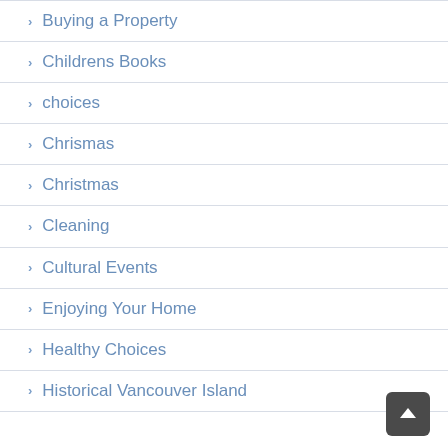Buying a Property
Childrens Books
choices
Chrismas
Christmas
Cleaning
Cultural Events
Enjoying Your Home
Healthy Choices
Historical Vancouver Island